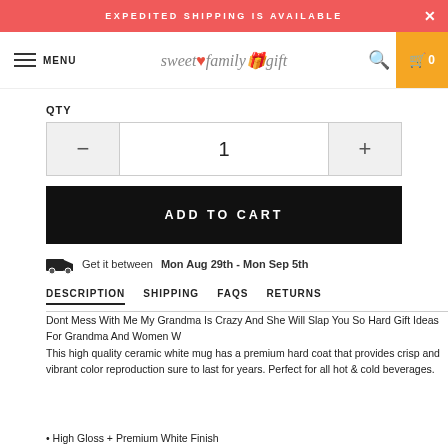EXPEDITED SHIPPING IS AVAILABLE
MENU  sweet family gift  🔍  0
QTY
1
ADD TO CART
Get it between Mon Aug 29th - Mon Sep 5th
DESCRIPTION  SHIPPING  FAQS  RETURNS
Dont Mess With Me My Grandma Is Crazy And She Will Slap You So Hard Gift Ideas For Grandma And Women W
This high quality ceramic white mug has a premium hard coat that provides crisp and vibrant color reproduction sure to last for years. Perfect for all hot & cold beverages.
• High Gloss + Premium White Finish